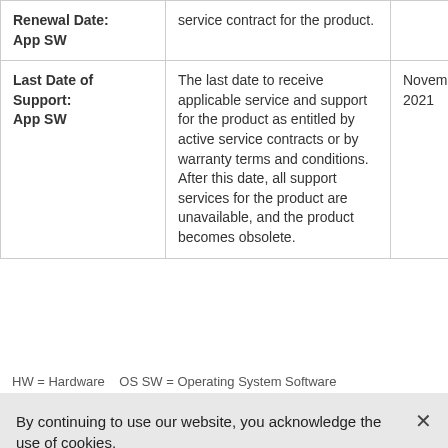| Field | Description | Value |
| --- | --- | --- |
| Renewal Date: App SW | service contract for the product. |  |
| Last Date of Support: App SW | The last date to receive applicable service and support for the product as entitled by active service contracts or by warranty terms and conditions. After this date, all support services for the product are unavailable, and the product becomes obsolete. | November 30, 2021 |
HW = Hardware   OS SW = Operating System Software
By continuing to use our website, you acknowledge the use of cookies.
Privacy Statement >   Change Settings >